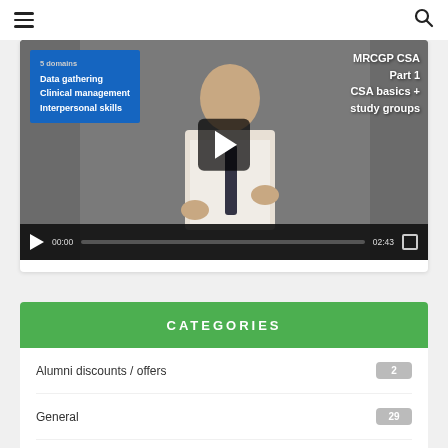Navigation bar with hamburger menu and search icon
[Figure (screenshot): Video thumbnail showing a man in a white shirt and tie, with a blue overlay box listing '5 domains', 'Data gathering', 'Clinical management', 'Interpersonal skills', and right-side text 'MRCGP CSA Part 1 CSA basics + study groups'. Video controls show 00:00 / 02:43 with a play button and progress bar.]
CATEGORIES
Alumni discounts / offers  2
General  29
GP Careers  5